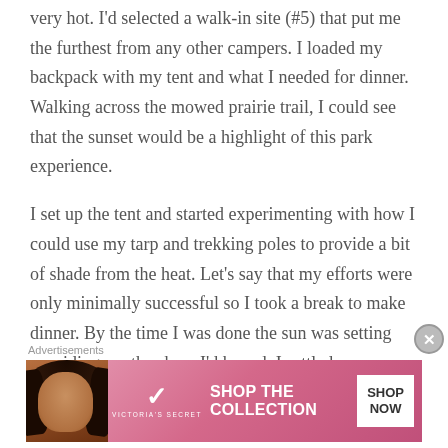very hot. I'd selected a walk-in site (#5) that put me the furthest from any other campers. I loaded my backpack with my tent and what I needed for dinner. Walking across the mowed prairie trail, I could see that the sunset would be a highlight of this park experience.

I set up the tent and started experimenting with how I could use my tarp and trekking poles to provide a bit of shade from the heat. Let's say that my efforts were only minimally successful so I took a break to make dinner. By the time I was done the sun was setting providing me the show I'd hoped. I settled
Advertisements
[Figure (other): Victoria's Secret advertisement banner showing a model with curly hair on a pink/rose gradient background with text 'SHOP THE COLLECTION' and a 'SHOP NOW' button]